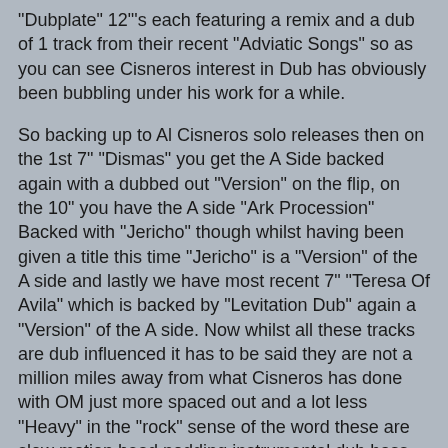"Dubplate" 12"'s each featuring a remix and a dub of 1 track from their recent "Adviatic Songs" so as you can see Cisneros interest in Dub has obviously been bubbling under his work for a while.
So backing up to Al Cisneros solo releases then on the 1st 7" "Dismas" you get the A Side backed again with a dubbed out "Version" on the flip, on the 10" you have the A side "Ark Procession" Backed with "Jericho" though whilst having been given a title this time "Jericho" is a "Version" of the A side and lastly we have most recent 7" "Teresa Of Avila" which is backed by "Levitation Dub" again a "Version" of the A side. Now whilst all these tracks are dub influenced it has to be said they are not a million miles away from what Cisneros has done with OM just more spaced out and a lot less "Heavy" in the "rock" sense of the word these are slow motion head nodding instrumental dub bass jams!
So onto the files I've put together both Al Ciscernos 7"'s and the 10" into one file below now there are absolutely NO free downloads of these online anywhere i know i tried my hardest to find them so all 6 tracks are ripped from Youtube